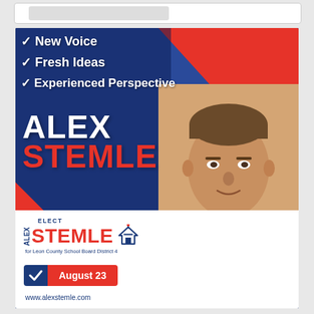[Figure (illustration): Political campaign advertisement for Alex Stemle running for Leon County School Board District 4. Features a blue and red design with a photo of the candidate, checkmark bullet points listing 'New Voice', 'Fresh Ideas', 'Experienced Perspective', candidate name 'ALEX STEMLE' in large text, campaign logo, 'August 23' voting date badge, and website www.alexstemle.com]
✓ New Voice
✓ Fresh Ideas
✓ Experienced Perspective
ALEX STEMLE
ELECT ALEX STEMLE for Leon County School Board District 4
August 23
www.alexstemle.com